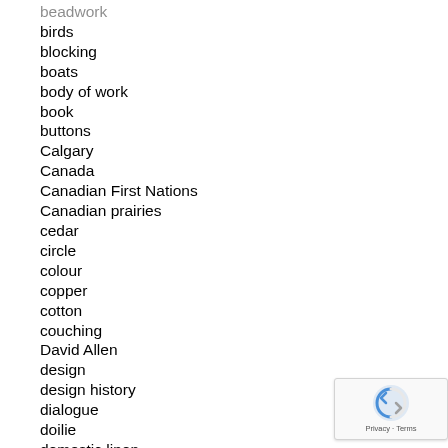beadwork
birds
blocking
boats
body of work
book
buttons
Calgary
Canada
Canadian First Nations
Canadian prairies
cedar
circle
colour
copper
cotton
couching
David Allen
design
design history
dialogue
doilie
domestic linen
Donnington
Donnington Food Forest Project
douglas-fir ecosystem